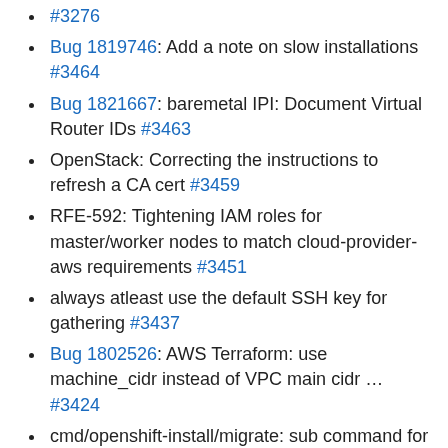#3276
Bug 1819746: Add a note on slow installations #3464
Bug 1821667: baremetal IPI: Document Virtual Router IDs #3463
OpenStack: Correcting the instructions to refresh a CA cert #3459
RFE-592: Tightening IAM roles for master/worker nodes to match cloud-provider-aws requirements #3451
always atleast use the default SSH key for gathering #3437
Bug 1802526: AWS Terraform: use machine_cidr instead of VPC main cidr … #3424
cmd/openshift-install/migrate: sub command for migrating azure legacy private zones #3343
hack/update-rhcos-bootimage: Drop the f-string #2972
docs/user/customization: Fix 'clusterNetworks' -> 'clusterNetwork' #2957